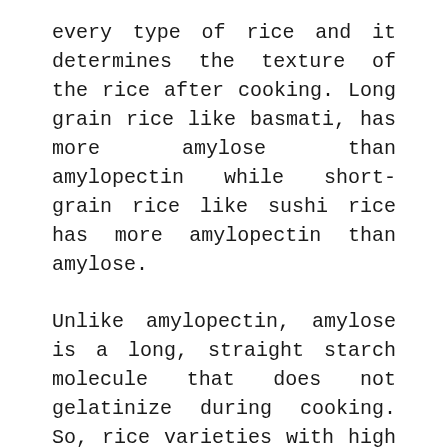every type of rice and it determines the texture of the rice after cooking. Long grain rice like basmati, has more amylose than amylopectin while short-grain rice like sushi rice has more amylopectin than amylose.
Unlike amylopectin, amylose is a long, straight starch molecule that does not gelatinize during cooking. So, rice varieties with high amounts of amylose will be separated when cooked.
Let me describe what happens when you cook your rice: The moment you start boiling your rice in water, both the starch molecules in the rice and the molecules of the water begin to move, allowing water to seep into the granules.